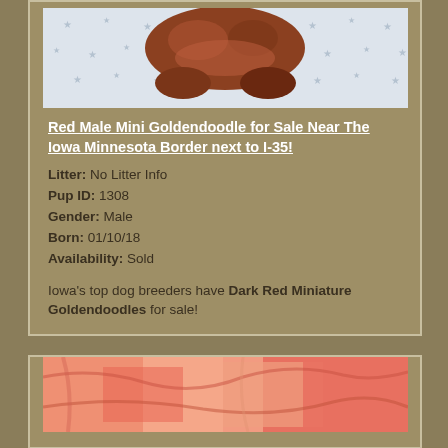[Figure (photo): Photo of a red mini goldendoodle puppy lying on a star-patterned blanket, viewed from above]
Red Male Mini Goldendoodle for Sale Near The Iowa Minnesota Border next to I-35!
Litter: No Litter Info
Pup ID: 1308
Gender: Male
Born: 01/10/18
Availability: Sold
Iowa's top dog breeders have Dark Red Miniature Goldendoodles for sale!
[Figure (photo): Close-up photo of a red/orange goldendoodle puppy, partially visible at bottom of page]